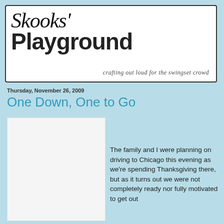[Figure (logo): Skooks' Playground blog logo with handwritten/bold text and tagline 'crafting out loud for the swingset crowd']
Thursday, November 26, 2009
One Down, One to Go
[Figure (photo): White/blank image placeholder]
The family and I were planning on driving to Chicago this evening as we're spending Thanksgiving there, but as it turns out we were not completely ready nor fully motivated to get out